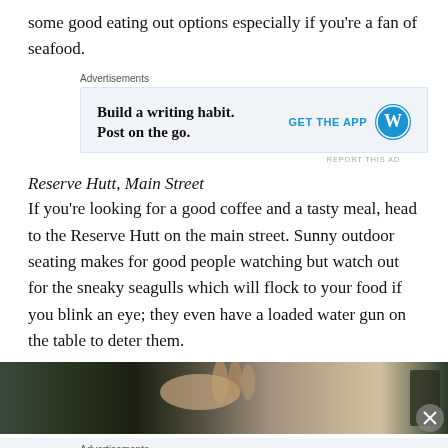some good eating out options especially if you're a fan of seafood.
[Figure (screenshot): Advertisement box: 'Build a writing habit. Post on the go.' with GET THE APP button and WordPress logo]
Reserve Hutt, Main Street
If you're looking for a good coffee and a tasty meal, head to the Reserve Hutt on the main street. Sunny outdoor seating makes for good people watching but watch out for the sneaky seagulls which will flock to your food if you blink an eye; they even have a loaded water gun on the table to deter them.
[Figure (photo): Photo showing hands outdoors, partial view of a person holding something, green background]
[Figure (screenshot): Advertisement box: 'Professionally designed sites in less than a week' with WordPress logo]